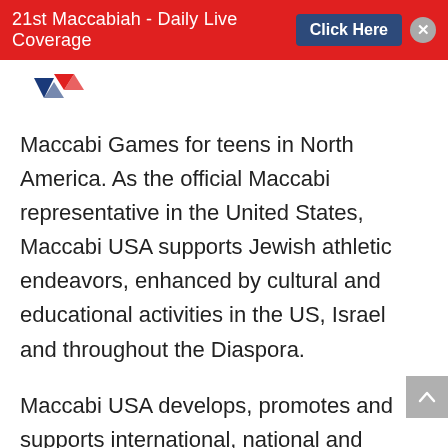21st Maccabiah - Daily Live Coverage   Click Here
[Figure (logo): Maccabi USA logo with blue and red star/shield design]
Maccabi Games for teens in North America. As the official Maccabi representative in the United States, Maccabi USA supports Jewish athletic endeavors, enhanced by cultural and educational activities in the US, Israel and throughout the Diaspora.
Maccabi USA develops, promotes and supports international, national and